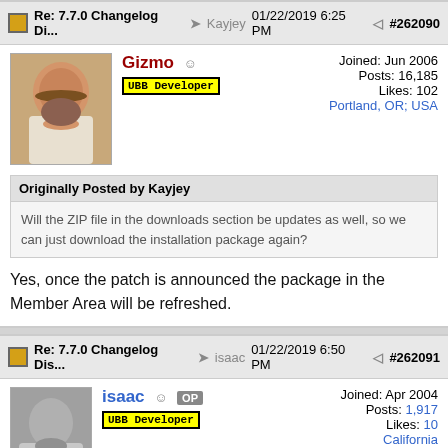Re: 7.7.0 Changelog Di... → Kayjey  01/22/2019 6:25 PM  #262090
Gizmo — UBB Developer
Joined: Jun 2006
Posts: 16,185
Likes: 102
Portland, OR; USA
Originally Posted by Kayjey
Will the ZIP file in the downloads section be updates as well, so we can just download the installation package again?
Yes, once the patch is announced the package in the Member Area will be refreshed.
Re: 7.7.0 Changelog Dis... → isaac  01/22/2019 6:50 PM  #262091
isaac OP — UBB Developer
Joined: Apr 2004
Posts: 1,917
Likes: 10
California
Still working on it. 20 minutes more, as I am performing this upgrade...